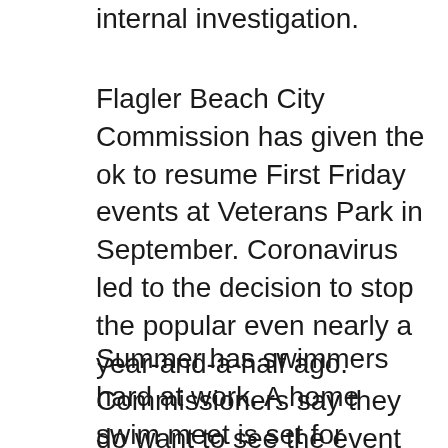internal investigation.
Flagler Beach City Commission has given the ok to resume First Friday events at Veterans Park in September. Coronavirus led to the decision to stop the popular even nearly a year-and-a-half ago. Commissioners say they do want to see the event refocus on city businesses, city sponsors and benefits that primarily go to the city.
Summer has swimmers hard at work. A home swim meet is set for tonight at Putnam Aquatic Center with the Putnam Sharks competing against Pace Island